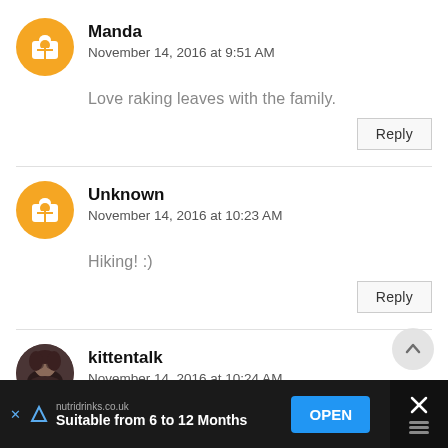Manda
November 14, 2016 at 9:51 AM
Love raking leaves with the family.
Reply
Unknown
November 14, 2016 at 10:23 AM
Hiking! :)
Reply
kittentalk
November 14, 2016 at 10:24 AM
nutridrinks.co.uk
Suitable from 6 to 12 Months
OPEN